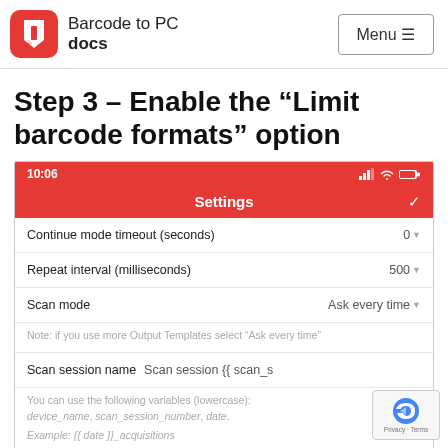Barcode to PC docs | Menu
Step 3 – Enable the “Limit barcode formats” option
[Figure (screenshot): Mobile phone screenshot showing a Settings screen in the Barcode to PC app. Status bar shows 10:06. Settings list includes: Continue mode timeout (seconds) 0, Repeat interval (milliseconds) 500, Scan mode Ask every time (with note: if you use more Output Templates select "Ask every time"), Scan session name: Scan session {{ scan_s... (with note about variables: device_name, scan_session_number, date, and example: {{ date }}_acquisitions)]